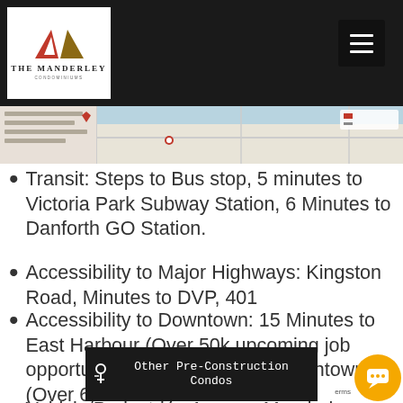[Figure (logo): The Manderley Condominiums logo — red/gold geometric M shape with company name below]
[Figure (map): Partial map showing location near Kingston Road / Victoria Park area]
Transit: Steps to Bus stop, 5 minutes to Victoria Park Subway Station, 6 Minutes to Danforth GO Station.
Accessibility to Major Highways: Kingston Road, Minutes to DVP, 401
Accessibility to Downtown: 15 Minutes to East Harbour (Over 50k upcoming job opportunities), 20 Minutes to Downtown (Over 600k Jobs)
Vehicle/Pedestrian Access: Manderley
Other Pre-Construction Condos